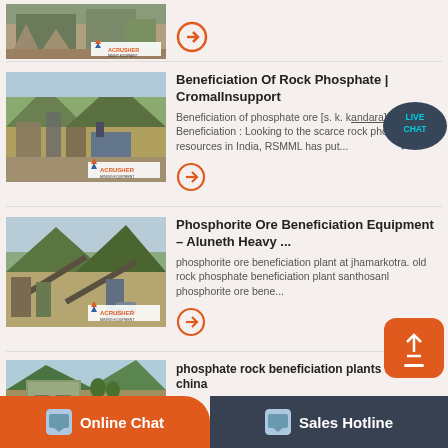[Figure (photo): Partial view of mining/crushing equipment site with ACRUSHER branding, top of page crop]
[Figure (photo): Mining equipment and crushing plant at mountainous site with ACRUSHER MINING EQUIPMENT logo]
Beneficiation Of Rock Phosphate | CromalInsupport
Beneficiation of phosphate ore [s. k. kandara] Beneficiation : Looking to the scarce rock phosphate resources in India, RSMML has put...
[Figure (photo): Mining/crushing plant equipment at mountainous outdoor site with ACRUSHER MINING EQUIPMENT logo]
Phosphorite Ore Beneficiation Equipment – Aluneth Heavy ...
phosphorite ore beneficiation plant at jhamarkotra. old rock phosphate beneficiation plant santhosanl phosphorite ore bene...
[Figure (photo): Partial view of mining facility/building with trees in background]
phosphate rock beneficiation plants from china